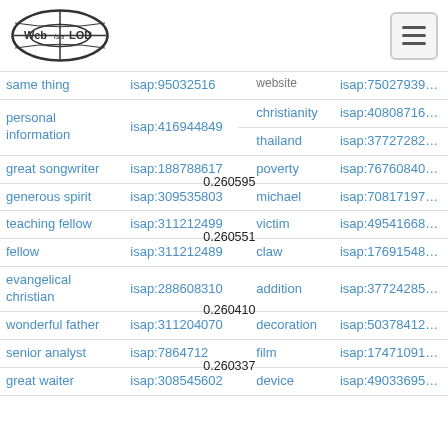Web isa LOD [logo] [hamburger menu]
| term (left) | isap (left) | score | term (right) | isap (right) |
| --- | --- | --- | --- | --- |
| same thing | isap:95032516 | 0.260676 | website | isap:75027939… |
| personal information | isap:416944849 |  | christianity | isap:40808716… |
|  |  |  | thailand | isap:37727282… |
| great songwriter | isap:188788617 |  | poverty | isap:76760840… |
| generous spirit | isap:309535803 | 0.260595 | michael | isap:70817197… |
| teaching fellow | isap:311212499 |  | victim | isap:49541668… |
| fellow | isap:311212489 | 0.260551 | claw | isap:17691548… |
| evangelical christian | isap:288608310 |  | addition | isap:37724285… |
| wonderful father | isap:311204070 | 0.260410 | decoration | isap:50378412… |
| senior analyst | isap:7864712 |  | film | isap:17471091… |
| great waiter | isap:308545602 | 0.260337 | device | isap:49033695… |